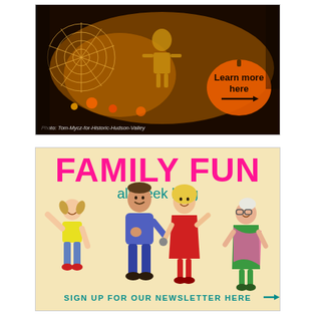[Figure (photo): Halloween night photo showing illuminated glowing spider webs and a skeleton decoration in warm golden light. An orange pumpkin-shaped graphic with text 'Learn more here' and an arrow appears in the lower right. A photo credit reads 'Photo: Tom-Mycz-for-Historic-Hudson-Valley' in the lower left.]
[Figure (illustration): Advertisement with light yellow/cream background. Large bold pink text 'FAMILY FUN' at top, teal text 'all week long' below. Cartoon illustration of a family dancing and singing: a man in blue sweater, woman in red dress holding microphone, young girl with pigtails, and elderly woman in green dress with pink shawl. At the bottom, teal text 'SIGN UP FOR OUR NEWSLETTER HERE' with a teal arrow pointing right.]